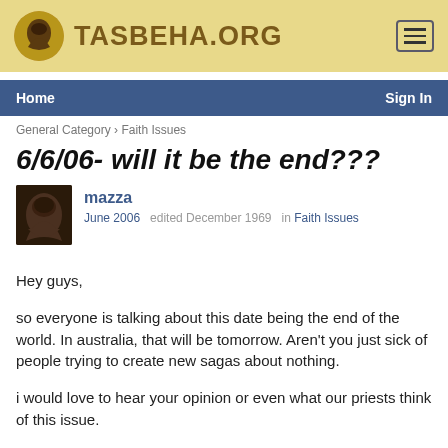TASBEHA.ORG
Home   Sign In
General Category › Faith Issues
6/6/06- will it be the end???
mazza
June 2006   edited December 1969   in Faith Issues
Hey guys,

so everyone is talking about this date being the end of the world. In australia, that will be tomorrow. Aren't you just sick of people trying to create new sagas about nothing.

i would love to hear your opinion or even what our priests think of this issue.

M...